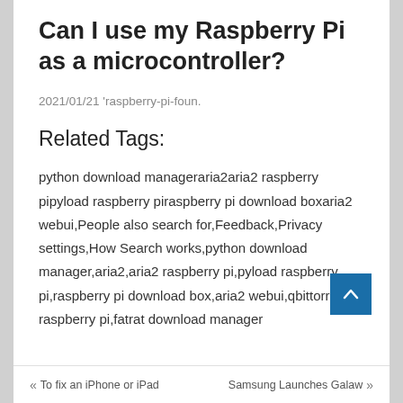Can I use my Raspberry Pi as a microcontroller?
2021/01/21 'raspberry-pi-foun.
Related Tags:
python download manageraria2aria2 raspberry pipyload raspberry piraspberry pi download boxaria2 webui,People also search for,Feedback,Privacy settings,How Search works,python download manager,aria2,aria2 raspberry pi,pyload raspberry pi,raspberry pi download box,aria2 webui,qbittorrent raspberry pi,fatrat download manager
« To fix an iPhone or iPad   Samsung Launches Galaw »